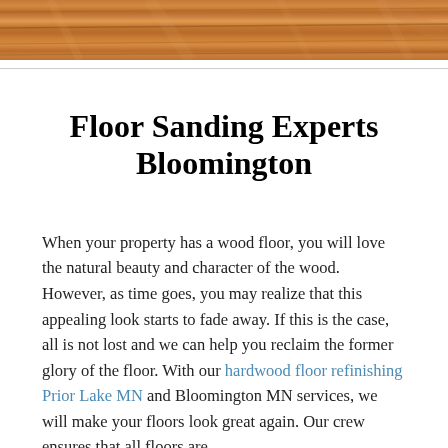[Figure (photo): Close-up photo of a hardwood wood floor showing natural wood grain and warm brown tones, viewed at an angle.]
Floor Sanding Experts Bloomington
When your property has a wood floor, you will love the natural beauty and character of the wood. However, as time goes, you may realize that this appealing look starts to fade away. If this is the case, all is not lost and we can help you reclaim the former glory of the floor. With our hardwood floor refinishing Prior Lake MN and Bloomington MN services, we will make your floors look great again. Our crew ensures that all floors are